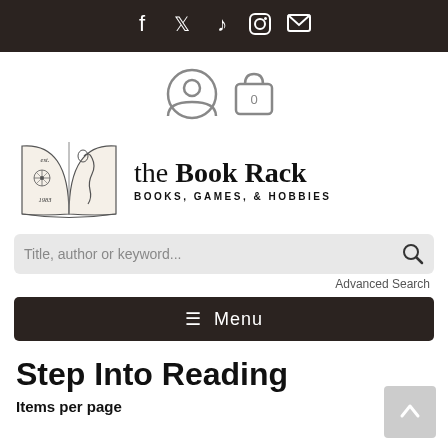Social media icons: Facebook, Twitter, TikTok, Instagram, Email
[Figure (screenshot): Account and shopping cart icons (cart shows 0)]
[Figure (logo): The Book Rack logo: open book illustration with 'est. 1983', text 'the Book Rack' and 'BOOKS, GAMES, & HOBBIES']
Title, author or keyword...
Advanced Search
☰ Menu
Step Into Reading
Items per page